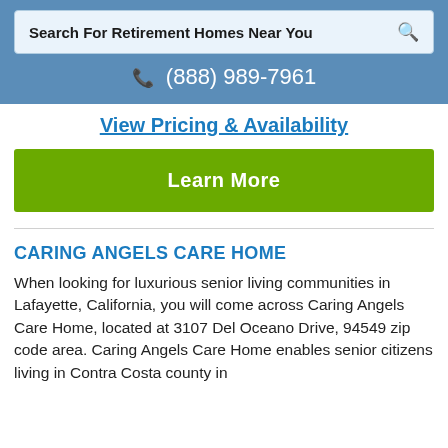Search For Retirement Homes Near You
(888) 989-7961
View Pricing & Availability
Learn More
CARING ANGELS CARE HOME
When looking for luxurious senior living communities in Lafayette, California, you will come across Caring Angels Care Home, located at 3107 Del Oceano Drive, 94549 zip code area. Caring Angels Care Home enables senior citizens living in Contra Costa county in